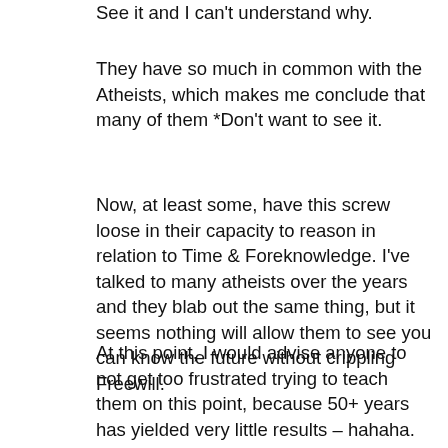See it and I can't understand why.
They have so much in common with the Atheists, which makes me conclude that many of them *Don't want to see it.
Now, at least some, have this screw loose in their capacity to reason in relation to Time & Foreknowledge. I've talked to many atheists over the years and they blab out the same thing, but it seems nothing will allow them to see you can know the future without crippling Freewill.
At this point, I would advise anyone to not get too frustrated trying to teach them on this point, because 50+ years has yielded very little results – hahaha.
There's a Neuron connection missing or a nerve bundle out of place between the two hemispheres or